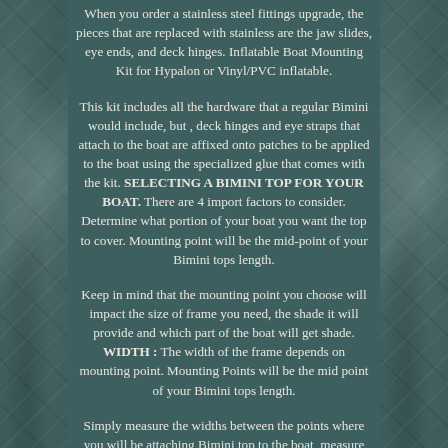When you order a stainless steel fittings upgrade, the pieces that are replaced with stainless are the jaw slides, eye ends, and deck hinges. Inflatable Boat Mounting Kit for Hypalon or Vinyl/PVC inflatable.
This kit includes all the hardware that a regular Bimini would include, but , deck hinges and eye straps that attach to the boat are affixed onto patches to be applied to the boat using the specialized glue that comes with the kit. SELECTING A BIMINI TOP FOR YOUR BOAT. There are 4 import factors to consider. Determine what portion of your boat you want the top to cover. Mounting point will be the mid-point of your Bimini tops length.
Keep in mind that the mounting point you choose will impact the size of frame you need, the shade it will provide and which part of the boat will get shade. WIDTH : The width of the frame depends on mounting point. Mounting Points will be the mid point of your Bimini tops length.
Simply measure the widths between the points where you will be attaching Bimini top to the boat, measure across your boat from gunnel to gunnel (side to side). This is not the same as'beam width' or boat width. Widths of the Bimini Tops are specified in increments of approximately 6; since the aluminum frame has a degree of flexibility. Choose the width that most closely matches to your